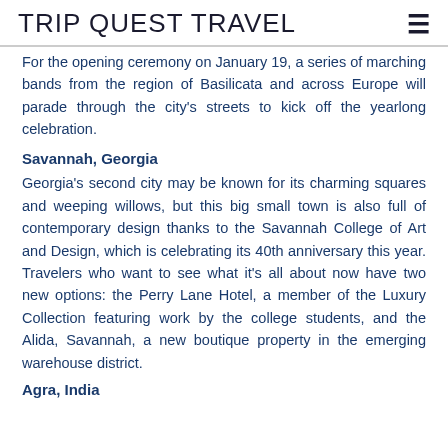TRIP QUEST TRAVEL
For the opening ceremony on January 19, a series of marching bands from the region of Basilicata and across Europe will parade through the city's streets to kick off the yearlong celebration.
Savannah, Georgia
Georgia's second city may be known for its charming squares and weeping willows, but this big small town is also full of contemporary design thanks to the Savannah College of Art and Design, which is celebrating its 40th anniversary this year. Travelers who want to see what it's all about now have two new options: the Perry Lane Hotel, a member of the Luxury Collection featuring work by the college students, and the Alida, Savannah, a new boutique property in the emerging warehouse district.
Agra, India